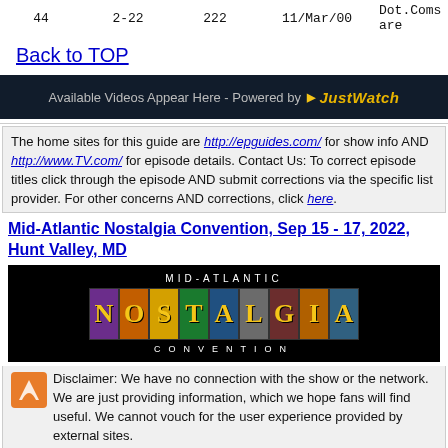| 44 | 2-22 | 222 | 11/Mar/00 | Dot.Coms are |
Back to TOP
[Figure (other): JustWatch video widget bar: 'Available Videos Appear Here - Powered by JustWatch']
The home sites for this guide are http://epguides.com/ for show info AND http://www.TV.com/ for episode details. Contact Us: To correct episode titles click through the episode AND submit corrections via the specific list provider. For other concerns AND corrections, click here.
Mid-Atlantic Nostalgia Convention, Sep 15 - 17, 2022, Hunt Valley, MD
[Figure (logo): Mid-Atlantic Nostalgia Convention logo with colorful tiled letters on black background]
Disclaimer: We have no connection with the show or the network. We are just providing information, which we hope fans will find useful. We cannot vouch for the user experience provided by external sites.
This guide may be distributed and copied freely, in its entirety, for